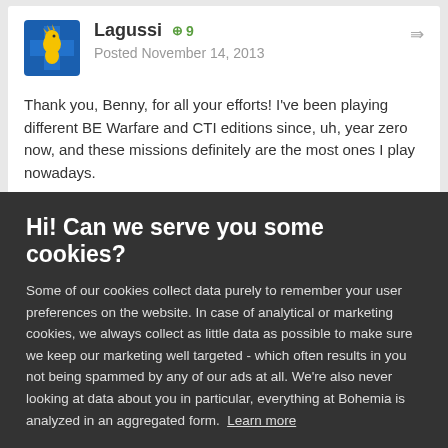[Figure (logo): User avatar: blue shield with yellow dragon/horse emblem]
Lagussi +9
Posted November 14, 2013
Thank you, Benny, for all your efforts! I’ve been playing different BE Warfare and CTI editions since, uh, year zero now, and these missions definitely are the most ones I play nowadays.
Hi! Can we serve you some cookies?
Some of our cookies collect data purely to remember your user preferences on the website. In case of analytical or marketing cookies, we always collect as little data as possible to make sure we keep our marketing well targeted - which often results in you not being spammed by any of our ads at all. We’re also never looking at data about you in particular, everything at Bohemia is analyzed in an aggregated form. Learn more
Allow all cookies
I want more options